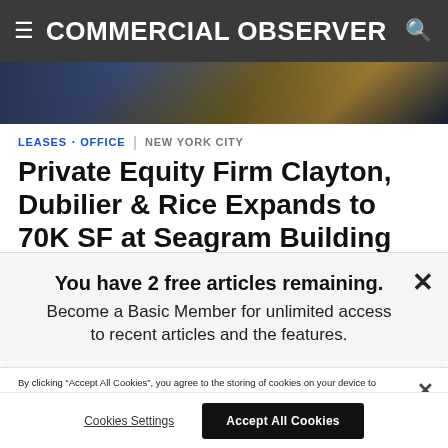≡ COMMERCIAL OBSERVER
[Figure (photo): Hero image of a building exterior at night with illuminated signage]
LEASES · OFFICE | NEW YORK CITY
Private Equity Firm Clayton, Dubilier & Rice Expands to 70K SF at Seagram Building
BY CELIA YOUNG
You have 2 free articles remaining. Become a Basic Member for unlimited access to recent articles and the features.
By clicking "Accept All Cookies", you agree to the storing of cookies on your device to enhance site navigation, analyze site usage, and assist in our marketing efforts.
Cookies Settings  Accept All Cookies